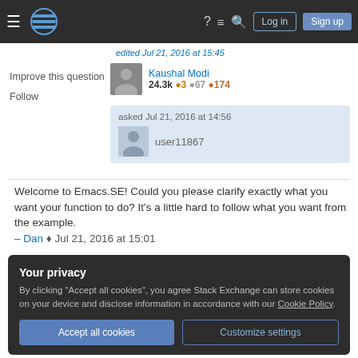Stack Exchange navigation bar with hamburger menu, logo, help, chat, search icons, Log in and Sign up buttons
edited Jul 21, 2016 at 15:45
Improve this question
Follow
Kaushal Modi 24.3k ()3 ()67 ()174
asked Jul 21, 2016 at 14:56
user11867
Welcome to Emacs.SE! Could you please clarify exactly what you want your function to do? It's a little hard to follow what you want from the example.
– Dan ♦ Jul 21, 2016 at 15:01
Your privacy
By clicking "Accept all cookies", you agree Stack Exchange can store cookies on your device and disclose information in accordance with our Cookie Policy.
Accept all cookies  Customize settings